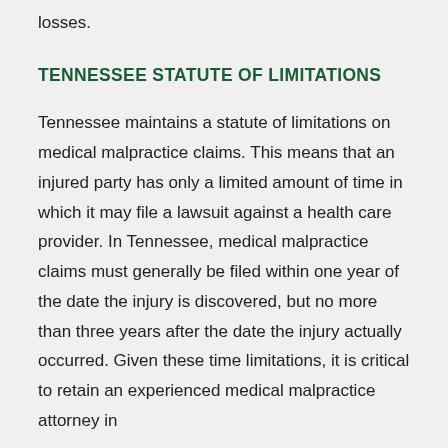losses.
TENNESSEE STATUTE OF LIMITATIONS
Tennessee maintains a statute of limitations on medical malpractice claims. This means that an injured party has only a limited amount of time in which it may file a lawsuit against a health care provider. In Tennessee, medical malpractice claims must generally be filed within one year of the date the injury is discovered, but no more than three years after the date the injury actually occurred. Given these time limitations, it is critical to retain an experienced medical malpractice attorney in